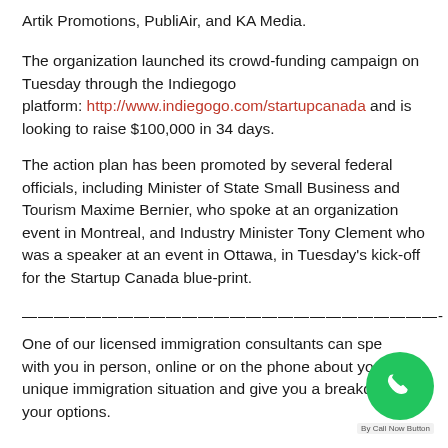Artik Promotions, PubliAir, and KA Media.
The organization launched its crowd-funding campaign on Tuesday through the Indiegogo platform: http://www.indiegogo.com/startupcanada and is looking to raise $100,000 in 34 days.
The action plan has been promoted by several federal officials, including Minister of State Small Business and Tourism Maxime Bernier, who spoke at an organization event in Montreal, and Industry Minister Tony Clement who was a speaker at an event in Ottawa, in Tuesday's kick-off for the Startup Canada blue-print.
——————————————————————————-
One of our licensed immigration consultants can speak with you in person, online or on the phone about your unique immigration situation and give you a breakdown of your options.